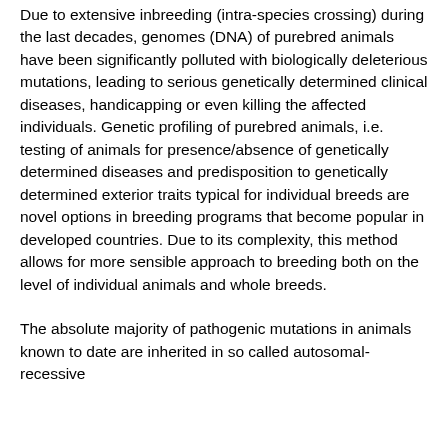Due to extensive inbreeding (intra-species crossing) during the last decades, genomes (DNA) of purebred animals have been significantly polluted with biologically deleterious mutations, leading to serious genetically determined clinical diseases, handicapping or even killing the affected individuals. Genetic profiling of purebred animals, i.e. testing of animals for presence/absence of genetically determined diseases and predisposition to genetically determined exterior traits typical for individual breeds are novel options in breeding programs that become popular in developed countries. Due to its complexity, this method allows for more sensible approach to breeding both on the level of individual animals and whole breeds.
The absolute majority of pathogenic mutations in animals known to date are inherited in so called autosomal-recessive